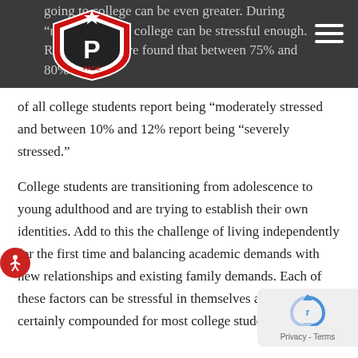going to college can be even greater. During “normal” times, college can be stressful enough. Researchers have found that between 75% and 80%
[Figure (logo): PACE shield logo in red, black and white with a star at top]
of all college students report being “moderately stressed and between 10% and 12% report being “severely stressed.”
College students are transitioning from adolescence to young adulthood and are trying to establish their own identities. Add to this the challenge of living independently for the first time and balancing academic demands with new relationships and existing family demands. Each of these factors can be stressful in themselves and the stress is certainly compounded for most college students.